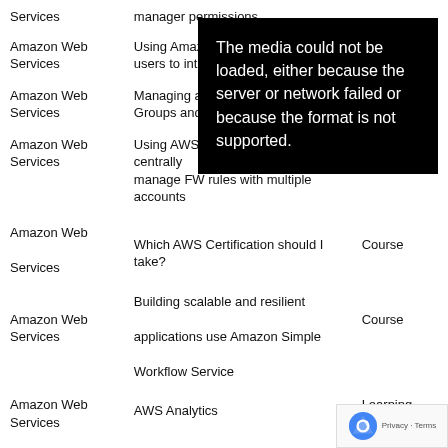| Provider | Title | Type |
| --- | --- | --- |
| Amazon Web Services | manager permissions |  |
| Amazon Web Services | Using Amazon... users to intern... |  |
| Amazon Web Services | Managing acc... Groups and R... |  |
| Amazon Web Services | Using AWS Firewall Manager to centrally manage FW rules with multiple accounts | Course |
| Amazon Web Services | Which AWS Certification should I take? | Course |
| Amazon Web Services | Building scalable and resilient applications use Amazon Simple Workflow Service | Course |
| Amazon Web Services | AWS Analytics | Learning Path |
| Amazon Web Services | AWS Application Integration | Learning Path |
[Figure (screenshot): Error overlay: 'The media could not be loaded, either because the server or network failed or because the format is not supported.']
[Figure (logo): reCAPTCHA badge with logo and Privacy - Terms text]